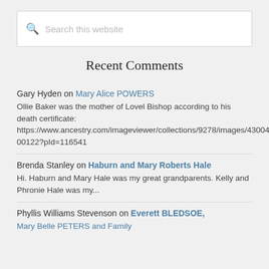[Figure (screenshot): Search box with magnifying glass icon and placeholder text 'Search this website']
Recent Comments
Gary Hyden on Mary Alice POWERS
Ollie Baker was the mother of Lovel Bishop according to his death certificate: https://www.ancestry.com/imageviewer/collections/9278/images/43004_162028001249_0207-00122?pId=116541
Brenda Stanley on Haburn and Mary Roberts Hale
Hi. Haburn and Mary Hale was my great grandparents. Kelly and Phronie Hale was my...
Phyllis Williams Stevenson on Everett BLEDSOE, Mary Belle PETERS and Family